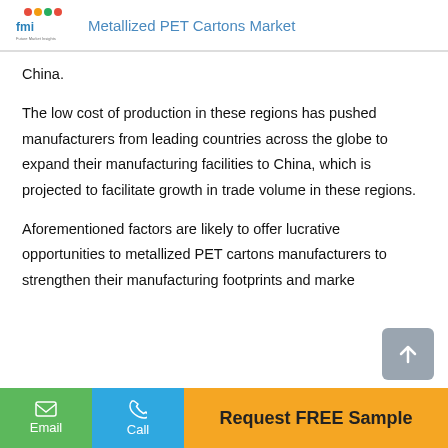Metallized PET Cartons Market
China.
The low cost of production in these regions has pushed manufacturers from leading countries across the globe to expand their manufacturing facilities to China, which is projected to facilitate growth in trade volume in these regions.
Aforementioned factors are likely to offer lucrative opportunities to metallized PET cartons manufacturers to strengthen their manufacturing footprints and marke
Email | Call | Request FREE Sample